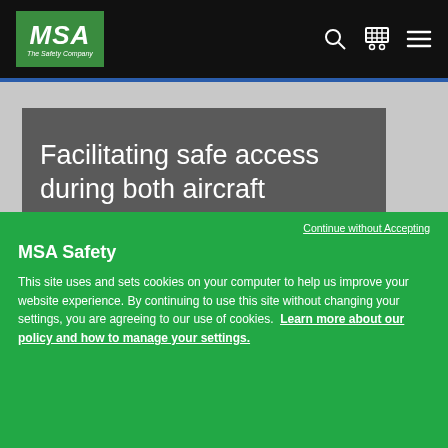[Figure (logo): MSA Safety Company logo - green box with white italic MSA text and tagline 'The Safety Company']
MSA navigation bar with search, cart, and menu icons
Facilitating safe access during both aircraft
MSA Safety
Continue without Accepting
This site uses and sets cookies on your computer to help us improve your website experience. By continuing to use this site without changing your settings, you are agreeing to our use of cookies. Learn more about our policy and how to manage your settings.